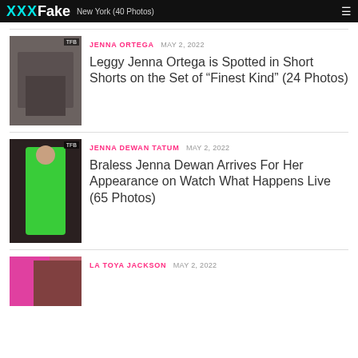XXX Fake  New York (40 Photos)
[Figure (photo): Thumbnail photo of Jenna Ortega in dark coat and short shorts on a brick wall set]
JENNA ORTEGA  MAY 2, 2022
Leggy Jenna Ortega is Spotted in Short Shorts on the Set of “Finest Kind” (24 Photos)
[Figure (photo): Thumbnail photo of Jenna Dewan Tatum in green dress]
JENNA DEWAN TATUM  MAY 2, 2022
Braless Jenna Dewan Arrives For Her Appearance on Watch What Happens Live (65 Photos)
[Figure (photo): Thumbnail photo of La Toya Jackson]
LA TOYA JACKSON  MAY 2, 2022